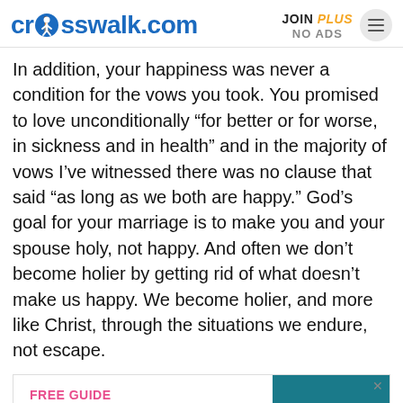crosswalk.com | JOIN PLUS NO ADS
In addition, your happiness was never a condition for the vows you took. You promised to love unconditionally “for better or for worse, in sickness and in health” and in the majority of vows I’ve witnessed there was no clause that said “as long as we both are happy.” God’s goal for your marriage is to make you and your spouse holy, not happy. And often we don’t become holier by getting rid of what doesn’t make us happy. We become holier, and more like Christ, through the situations we endure, not escape.
[Figure (infographic): Advertisement banner: FREE GUIDE - Find Jesus in every book of the Bible, with a teal book cover showing 'Jesus in Every Book of the Bible']